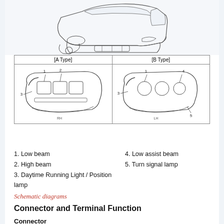[Figure (engineering-diagram): Front 3/4 view line drawing of a car (SUV/sedan), showing the front headlamp assembly area]
[Figure (engineering-diagram): Two-column table diagram showing [A Type] and [B Type] front headlamp assemblies with numbered component callouts. A Type has callouts 1,2,3. B Type has callouts 1,3,4,5.]
1. Low beam
2. High beam
3. Daytime Running Light / Position lamp
4. Low assist beam
5. Turn signal lamp
Schematic diagrams
Connector and Terminal Function
Connector